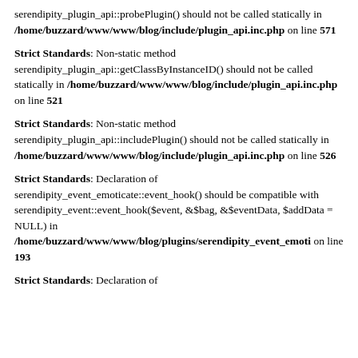serendipity_plugin_api::probePlugin() should not be called statically in /home/buzzard/www/www/blog/include/plugin_api.inc.php on line 571
Strict Standards: Non-static method serendipity_plugin_api::getClassByInstanceID() should not be called statically in /home/buzzard/www/www/blog/include/plugin_api.inc.php on line 521
Strict Standards: Non-static method serendipity_plugin_api::includePlugin() should not be called statically in /home/buzzard/www/www/blog/include/plugin_api.inc.php on line 526
Strict Standards: Declaration of serendipity_event_emoticate::event_hook() should be compatible with serendipity_event::event_hook($event, &$bag, &$eventData, $addData = NULL) in /home/buzzard/www/www/blog/plugins/serendipity_event_emoti on line 193
Strict Standards: Declaration of